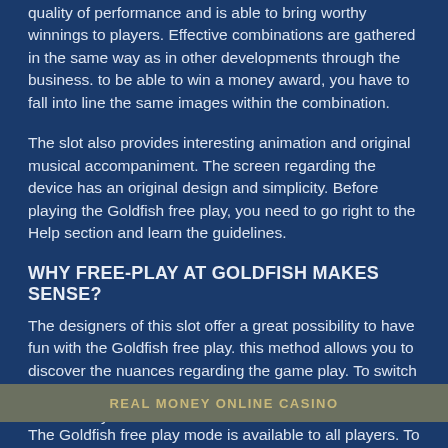quality of performance and is able to bring worthy winnings to players. Effective combinations are gathered in the same way as in other developments through the business. to be able to win a money award, you have to fall into line the same images within the combination.
The slot also provides interesting animation and original musical accompaniment. The screen regarding the device has an original design and simplicity. Before playing the Goldfish free play, you need to go right to the Help section and learn the guidelines.
WHY FREE-PLAY AT GOLDFISH MAKES SENSE?
The designers of this slot offer a great possibility to have fun with the Goldfish free play. this method allows you to discover the nuances regarding the game play. To switch these devices for this mode, simply click regarding the "Demo" key.
When the demo mode is activated, you certainly will get the game credits. They truly are converted into digital currency with different denominations.
[Figure (infographic): Dark olive/grey banner overlay with text REAL MONEY ONLINE CASINO in gold/yellow bold uppercase letters]
The Goldfish free play mode is available to all players. To